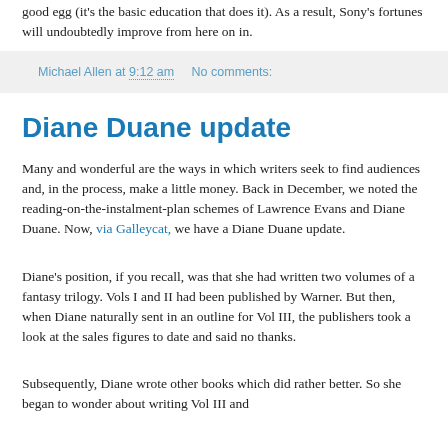good egg (it's the basic education that does it). As a result, Sony's fortunes will undoubtedly improve from here on in.
Michael Allen at 9:12 am   No comments:
Diane Duane update
Many and wonderful are the ways in which writers seek to find audiences and, in the process, make a little money. Back in December, we noted the reading-on-the-instalment-plan schemes of Lawrence Evans and Diane Duane. Now, via Galleycat, we have a Diane Duane update.
Diane's position, if you recall, was that she had written two volumes of a fantasy trilogy. Vols I and II had been published by Warner. But then, when Diane naturally sent in an outline for Vol III, the publishers took a look at the sales figures to date and said no thanks.
Subsequently, Diane wrote other books which did rather better. So she began to wonder about writing Vol III and...